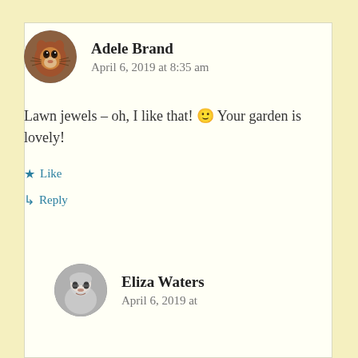Adele Brand
April 6, 2019 at 8:35 am
Lawn jewels – oh, I like that! 🙂 Your garden is lovely!
Like
Reply
Eliza Waters
April 6, 2019 at